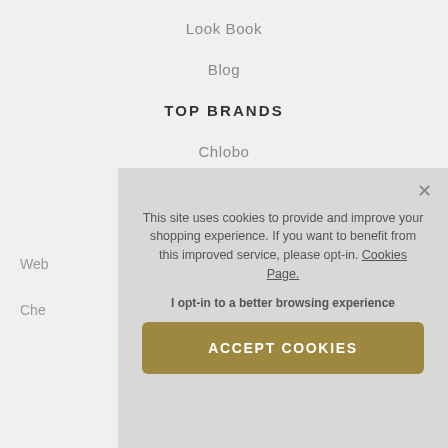Look Book
Blog
TOP BRANDS
Chlobo
Daisy London
Diamonfire
Web
Che
This site uses cookies to provide and improve your shopping experience. If you want to benefit from this improved service, please opt-in. Cookies Page.

I opt-in to a better browsing experience

ACCEPT COOKIES